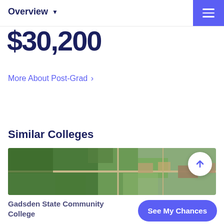Overview
$30,200
More About Post-Grad ›
Similar Colleges
[Figure (photo): Aerial satellite view of Gadsden State Community College campus area showing fields and roads]
Gadsden State Community College
See My Chances